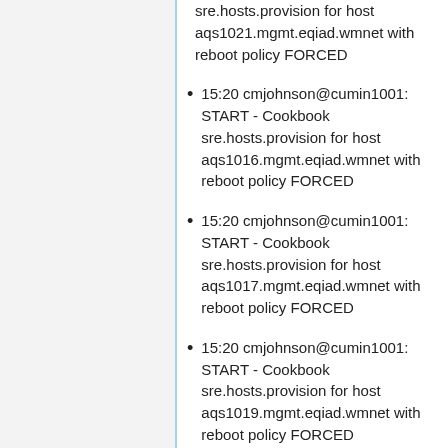sre.hosts.provision for host aqs1021.mgmt.eqiad.wmnet with reboot policy FORCED
15:20 cmjohnson@cumin1001: START - Cookbook sre.hosts.provision for host aqs1016.mgmt.eqiad.wmnet with reboot policy FORCED
15:20 cmjohnson@cumin1001: START - Cookbook sre.hosts.provision for host aqs1017.mgmt.eqiad.wmnet with reboot policy FORCED
15:20 cmjohnson@cumin1001: START - Cookbook sre.hosts.provision for host aqs1019.mgmt.eqiad.wmnet with reboot policy FORCED
15:20 cmjohnson@cumin1001: START - Cookbook